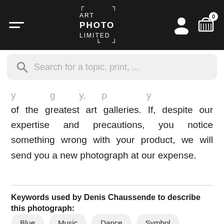[Figure (screenshot): Website header with dark background showing hamburger menu, Art Photo Limited logo in brackets, user icon, and shopping cart with 0 items]
[Figure (screenshot): Search bar with magnifying glass icon and placeholder text 'Search for a topic, print, ...']
of the greatest art galleries. If, despite our expertise and precautions, you notice something wrong with your product, we will send you a new photograph at our expense.
Keywords used by Denis Chaussende to describe this photograph:
Blue
Music
Dance
Symbol
Electro
Electronics
Record
Vinyl